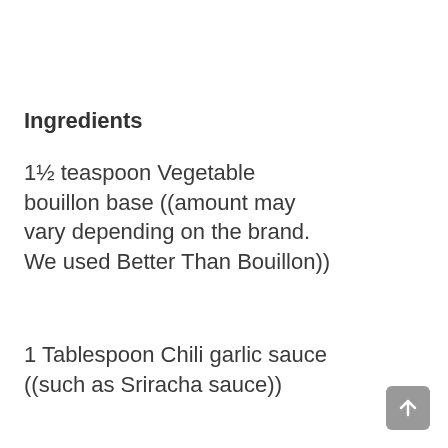Ingredients
1½ teaspoon Vegetable bouillon base ((amount may vary depending on the brand. We used Better Than Bouillon))
1 Tablespoon Chili garlic sauce ((such as Sriracha sauce))